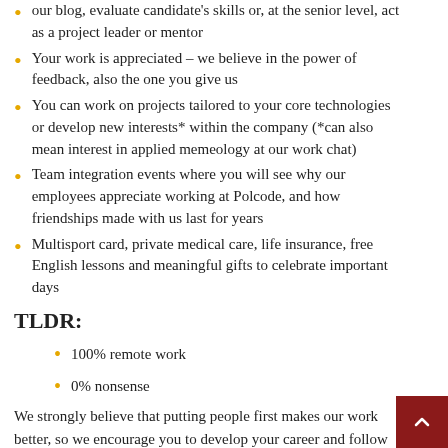...our blog, evaluate candidate's skills or, at the senior level, act as a project leader or mentor
Your work is appreciated – we believe in the power of feedback, also the one you give us
You can work on projects tailored to your core technologies or develop new interests* within the company (*can also mean interest in applied memeology at our work chat)
Team integration events where you will see why our employees appreciate working at Polcode, and how friendships made with us last for years
Multisport card, private medical care, life insurance, free English lessons and meaningful gifts to celebrate important days
TLDR:
100% remote work
0% nonsense
We strongly believe that putting people first makes our work better, so we encourage you to develop your career and follow your passion. We wanna do great things with you!